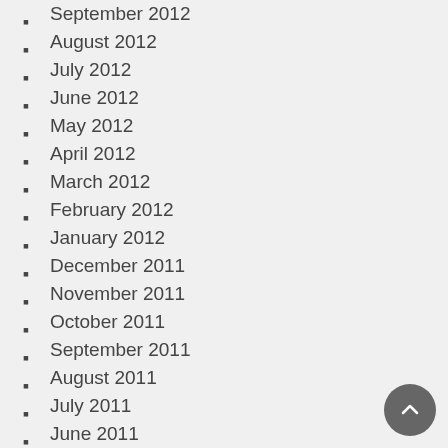September 2012
August 2012
July 2012
June 2012
May 2012
April 2012
March 2012
February 2012
January 2012
December 2011
November 2011
October 2011
September 2011
August 2011
July 2011
June 2011
May 2011
April 2011
March 2011
February 2011